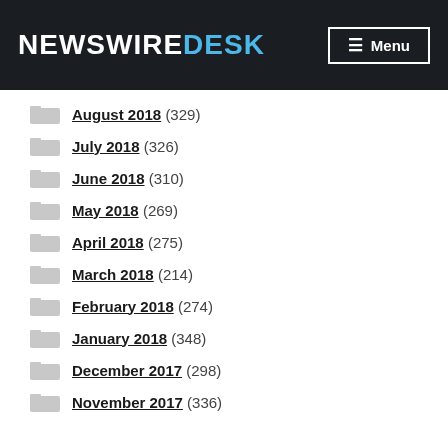NewswireDesk | Menu
August 2018 (329)
July 2018 (326)
June 2018 (310)
May 2018 (269)
April 2018 (275)
March 2018 (214)
February 2018 (274)
January 2018 (348)
December 2017 (298)
November 2017 (336)